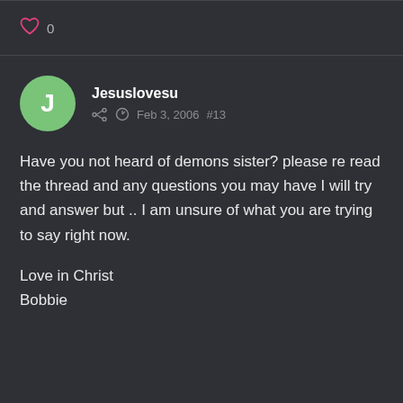0
Jesuslovesu
Feb 3, 2006  #13
Have you not heard of demons sister? please re read the thread and any questions you may have I will try and answer but .. I am unsure of what you are trying to say right now.

Love in Christ
Bobbie